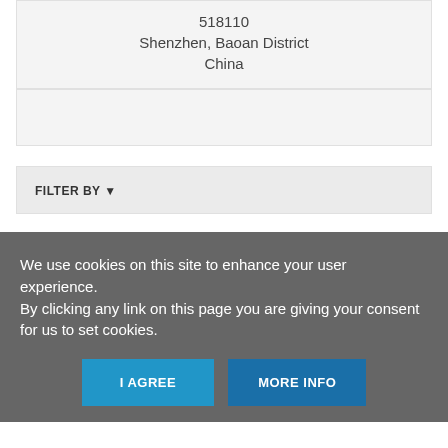518110
Shenzhen, Baoan District
China
FILTER BY ▼
We use cookies on this site to enhance your user experience.
By clicking any link on this page you are giving your consent for us to set cookies.
I AGREE
MORE INFO